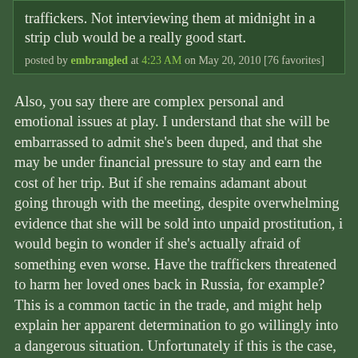traffickers. Not interviewing them at midnight in a strip club would be a really good start.
posted by embrangled at 4:23 AM on May 20, 2010 [76 favorites]
Also, you say there are complex personal and emotional issues at play. I understand that she will be embarrassed to admit she's been duped, and that she may be under financial pressure to stay and earn the cost of her trip. But if she remains adamant about going through with the meeting, despite overwhelming evidence that she will be sold into unpaid prostitution, i would begin to wonder if she's actually afraid of something even worse. Have the traffickers threatened to harm her loved ones back in Russia, for example? This is a common tactic in the trade, and might help explain her apparent determination to go willingly into a dangerous situation. Unfortunately if this is the case, I'm not sure what else you can do to help, short of